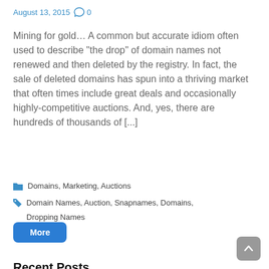August 13, 2015  0
Mining for gold... A common but accurate idiom often used to describe “the drop” of domain names not renewed and then deleted by the registry. In fact, the sale of deleted domains has spun into a thriving market that often times include great deals and occasionally highly-competitive auctions. And, yes, there are hundreds of thousands of [...]
Domains, Marketing, Auctions
Domain Names, Auction, Snapnames, Domains, Dropping Names
More
Recent Posts